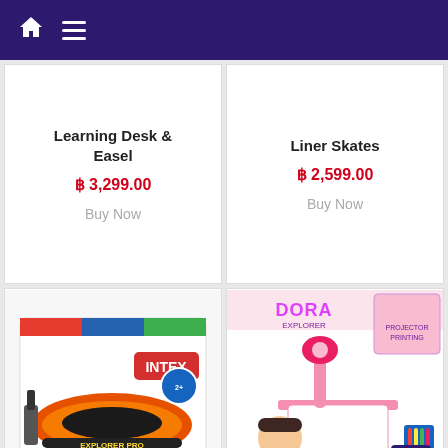Navigation header with home and menu icons
Learning Desk & Easel
฿ 3,299.00
Buy Now
Liner Skates
฿ 2,599.00
Buy Now
[Figure (photo): Intex Explorer Pro inflatable boat product box showing orange inflatable raft with pump]
[Figure (photo): Dora Explorer projector painting table toy set with pink desk and Dora character illustration]